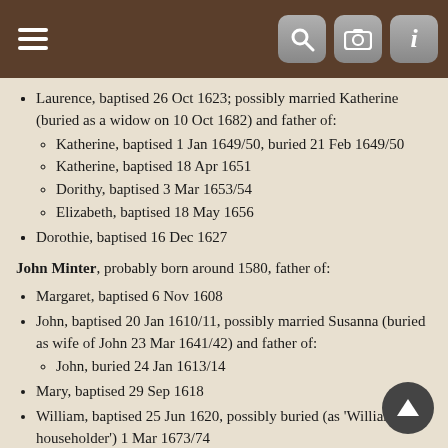[App navigation bar with hamburger menu and search/camera/info icons]
Laurence, baptised 26 Oct 1623; possibly married Katherine (buried as a widow on 10 Oct 1682) and father of: Katherine, baptised 1 Jan 1649/50, buried 21 Feb 1649/50; Katherine, baptised 18 Apr 1651; Dorithy, baptised 3 Mar 1653/54; Elizabeth, baptised 18 May 1656
Dorothie, baptised 16 Dec 1627
John Minter, probably born around 1580, father of:
Margaret, baptised 6 Nov 1608
John, baptised 20 Jan 1610/11, possibly married Susanna (buried as wife of John 23 Mar 1641/42) and father of: John, buried 24 Jan 1613/14
Mary, baptised 29 Sep 1618
William, baptised 25 Jun 1620, possibly buried (as 'William, householder') 1 Mar 1673/74
Henry, baptised 31 Aug 1623
Thomas Minter, probably born around 1590,